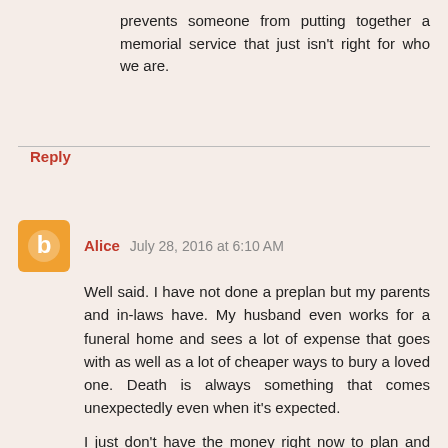prevents someone from putting together a memorial service that just isn't right for who we are.
Reply
Alice July 28, 2016 at 6:10 AM
Well said. I have not done a preplan but my parents and in-laws have. My husband even works for a funeral home and sees a lot of expense that goes with as well as a lot of cheaper ways to bury a loved one. Death is always something that comes unexpectedly even when it's expected.
I just don't have the money right now to plan and pay for a funeral. We talk about what we don't want in our funerals during casual family conversations. We should preplan but we haven't yet. We do have a will especially when the kids were young and I wanted to make sure family would raise them not the state. They are all adults now so and we